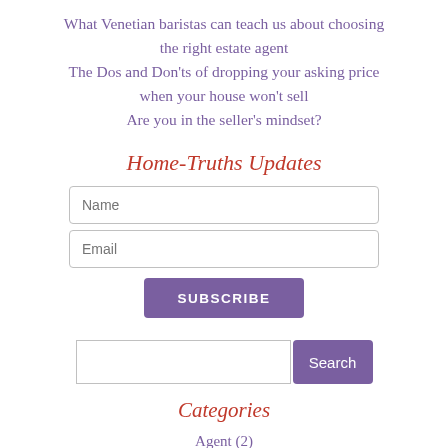What Venetian baristas can teach us about choosing the right estate agent
The Dos and Don'ts of dropping your asking price when your house won't sell
Are you in the seller's mindset?
Home-Truths Updates
Name
Email
SUBSCRIBE
Search
Categories
Agent (2)